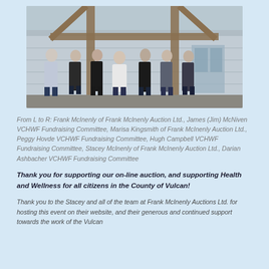[Figure (photo): Group photo of seven people standing in front of a wooden structure/building with metal siding. They are posed in a row outdoors.]
From L to R: Frank McInenly of Frank McInenly Auction Ltd., James (Jim) McNiven VCHWF Fundraising Committee, Marisa Kingsmith of Frank McInenly Auction Ltd., Peggy Hovde VCHWF Fundraising Committee, Hugh Campbell VCHWF Fundraising Committee, Stacey McInenly of Frank McInenly Auction Ltd., Darian Ashbacher VCHWF Fundraising Committee
Thank you for supporting our on-line auction, and supporting Health and Wellness for all citizens in the County of Vulcan!
Thank you to the Stacey and all of the team at Frank McInenly Auctions Ltd. for hosting this event on their website, and their generous and continued support towards the work of the Vulcan